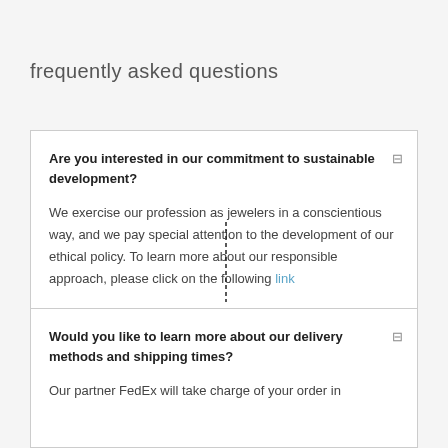frequently asked questions
Are you interested in our commitment to sustainable development?
We exercise our profession as jewelers in a conscientious way, and we pay special attention to the development of our ethical policy. To learn more about our responsible approach, please click on the following link
Would you like to learn more about our delivery methods and shipping times?
Our partner FedEx will take charge of your order in